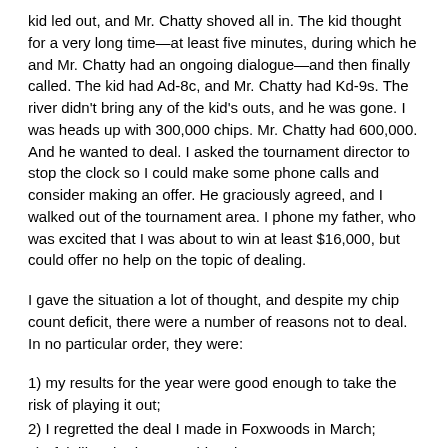kid led out, and Mr. Chatty shoved all in. The kid thought for a very long time—at least five minutes, during which he and Mr. Chatty had an ongoing dialogue—and then finally called. The kid had Ad-8c, and Mr. Chatty had Kd-9s. The river didn't bring any of the kid's outs, and he was gone. I was heads up with 300,000 chips. Mr. Chatty had 600,000. And he wanted to deal. I asked the tournament director to stop the clock so I could make some phone calls and consider making an offer. He graciously agreed, and I walked out of the tournament area. I phone my father, who was excited that I was about to win at least $16,000, but could offer no help on the topic of dealing.
I gave the situation a lot of thought, and despite my chip count deficit, there were a number of reasons not to deal. In no particular order, they were:
1) my results for the year were good enough to take the risk of playing it out;
2) I regretted the deal I made in Foxwoods in March;
3) I felt like I had a pretty big edge on my opponent;
4) Playing it out is more fun.